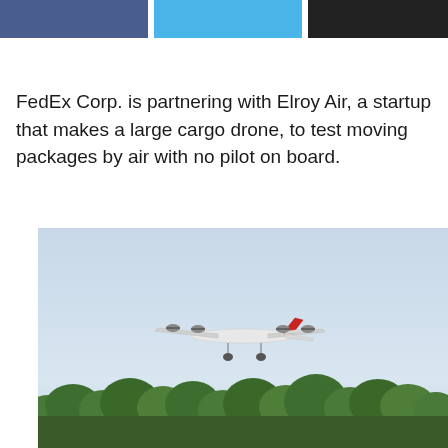[Figure (other): Three horizontal colored bars: dark blue, light blue, and black, arranged side by side as a decorative header element.]
FedEx Corp. is partnering with Elroy Air, a startup that makes a large cargo drone, to test moving packages by air with no pilot on board.
[Figure (photo): A white cargo drone with a red tail fin and multiple rotors flying in a clear light-blue sky above a treeline of green trees. The drone appears to be a fixed-wing hybrid VTOL aircraft.]